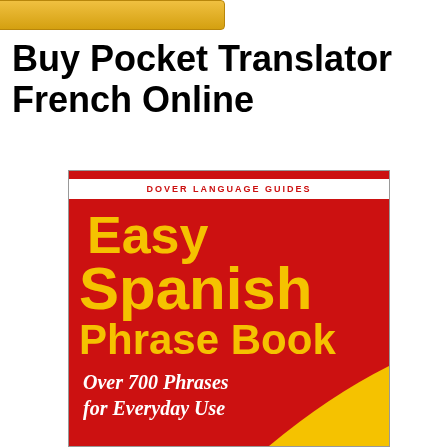[Figure (other): Partial gold/yellow button at top of page, cropped]
Buy Pocket Translator French Online
[Figure (photo): Book cover: Dover Language Guides - Easy Spanish Phrase Book - Over 700 Phrases for Everyday Use. Red cover with bold yellow text.]